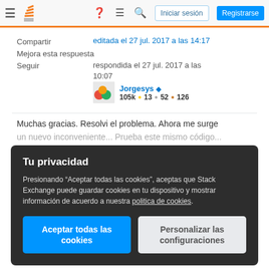Stack Exchange navigation bar with login and register buttons
Compartir
Mejora esta respuesta
Seguir
editada el 27 jul. 2017 a las 14:17
respondida el 27 jul. 2017 a las 10:07
Jorgesys ◆ 105k ● 13 ● 52 ● 126
Muchas gracias. Resolvi el problema. Ahora me surge un nuevo inconveniente... Prueba este mismo código...
Tu privacidad
Presionando "Aceptar todas las cookies", aceptas que Stack Exchange puede guardar cookies en tu dispositivo y mostrar información de acuerdo a nuestra politica de cookies.
Aceptar todas las cookies
Personalizar las configuraciones